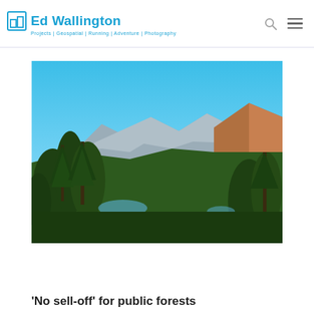Ed Wallington — Projects | Geospatial | Running | Adventure | Photography
[Figure (photo): Landscape photograph showing a panoramic view of a forested area with tall pine trees in the foreground, a mountain range in the middle distance, a glimpse of a lake or river, and a clear bright blue sky above.]
'No sell-off' for public forests